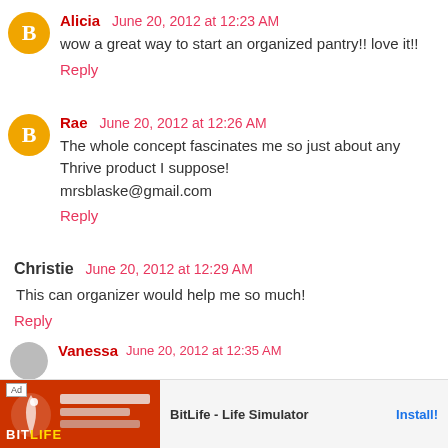Alicia June 20, 2012 at 12:23 AM
wow a great way to start an organized pantry!! love it!!
Reply
Rae June 20, 2012 at 12:26 AM
The whole concept fascinates me so just about any Thrive product I suppose!
mrsblaske@gmail.com
Reply
Christie June 20, 2012 at 12:29 AM
This can organizer would help me so much!
Reply
Vanessa June 20, 2012 at 12:35 AM
[Figure (screenshot): BitLife - Life Simulator advertisement banner at the bottom of the page]